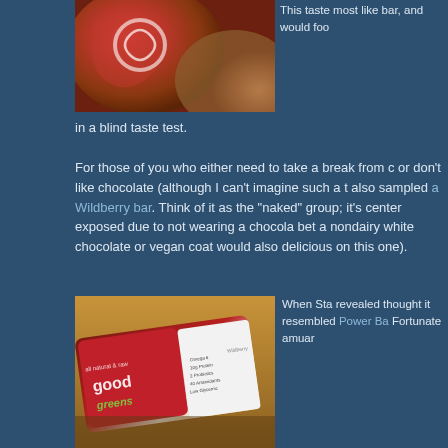[Figure (photo): Close-up photo of a red/orange product packaging]
This taste most like bar, and would foo in a blind taste test.
For those of you who either need to take a break from c or don't like chocolate (although I can't imagine such a t also sampled a Wildberry bar. Think of it as the "naked" group; it's center exposed due to not wearing a chocola bet a nondairy white chocolate or vegan coat would also delicious on this one).
[Figure (photo): Photo of Good Greens Wildberry bar packaging on a wooden surface]
When Sta revealed thought it resembled Power Ba Fortunate amuar